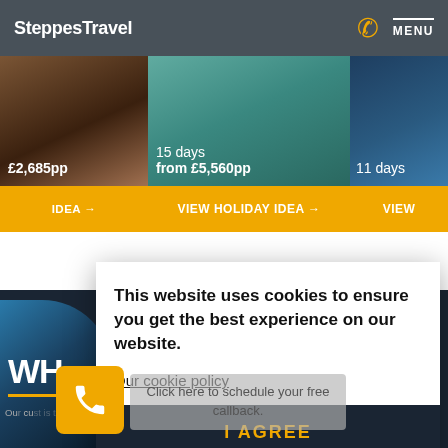SteppesTravel — MENU
[Figure (screenshot): Holiday cards strip showing three travel destinations with prices: £2,685pp / 15 days from £5,560pp / 11 days. Each card has a VIEW HOLIDAY IDEA button in amber/gold.]
[Figure (screenshot): Dark navy travel website section with partially visible text 'WH' in large white bold font, amber horizontal line, and partial body text below.]
This website uses cookies to ensure you get the best experience on our website.
Our cookie policy
I AGREE
Click here to schedule your free callback.